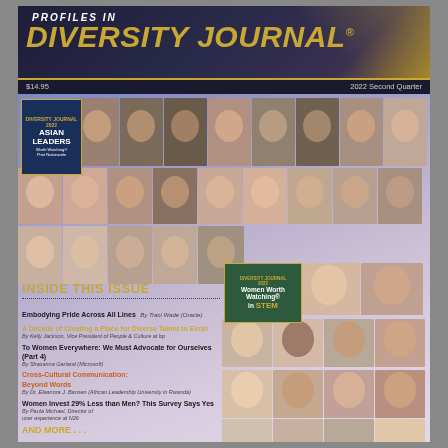PROFILES IN DIVERSITY JOURNAL®
$14.95    2022 Second Quarter
[Figure (photo): Magazine cover of Profiles in Diversity Journal 2022 Second Quarter featuring a collage of professional headshot photos of Asian Leaders Worth Watching and Women Worth Watching in STEM honorees]
INSIDE THIS ISSUE
Embodying Pride Across All Lines  By Traci Wade (Oracle)
A Decade of Creating a Place for Diverse Talent to Excel  By Kelly Jackson, Vice President of People & Culture at bp
To Women Everywhere: We Must Advocate for Ourselves (Part 4)  By Shasanna Garland (Microsoft)
Cross-Cultural Communication: Beyond Words  By Dr. Eleanora J. Bansen (African Leadership University in Rwanda)
Women Invest 29% Less than Men? This Survey Says Yes  By Paula Michael, Director of user experience at N26
AND MORE . . .